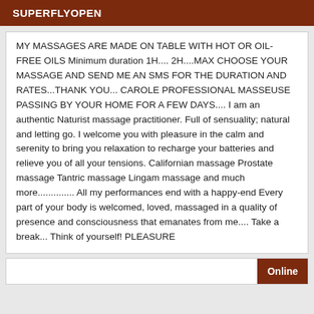SUPERFLYOPEN
MY MASSAGES ARE MADE ON TABLE WITH HOT OR OIL-FREE OILS Minimum duration 1H.... 2H....MAX CHOOSE YOUR MASSAGE AND SEND ME AN SMS FOR THE DURATION AND RATES...THANK YOU... CAROLE PROFESSIONAL MASSEUSE PASSING BY YOUR HOME FOR A FEW DAYS.... I am an authentic Naturist massage practitioner. Full of sensuality; natural and letting go. I welcome you with pleasure in the calm and serenity to bring you relaxation to recharge your batteries and relieve you of all your tensions. Californian massage Prostate massage Tantric massage Lingam massage and much more.............. All my performances end with a happy-end Every part of your body is welcomed, loved, massaged in a quality of presence and consciousness that emanates from me.... Take a break... Think of yourself! PLEASURE
Online